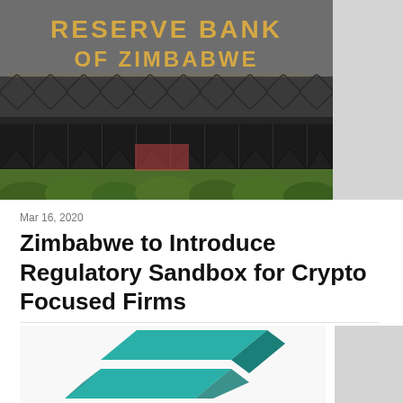[Figure (photo): Photo of the Reserve Bank of Zimbabwe building facade with gold lettering 'RESERVE BANK OF ZIMBABWE' and ornate metalwork grillework below]
Mar 16, 2020
Zimbabwe to Introduce Regulatory Sandbox for Crypto Focused Firms
[Figure (logo): Teal/turquoise 3D geometric logo resembling a stylized 'Z' shape made of two angular chevron forms]